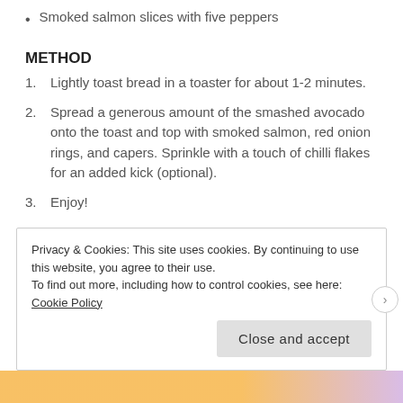Smoked salmon slices with five peppers
METHOD
Lightly toast bread in a toaster for about 1-2 minutes.
Spread a generous amount of the smashed avocado onto the toast and top with smoked salmon, red onion rings, and capers. Sprinkle with a touch of chilli flakes for an added kick (optional).
Enjoy!
Privacy & Cookies: This site uses cookies. By continuing to use this website, you agree to their use.
To find out more, including how to control cookies, see here: Cookie Policy
Close and accept